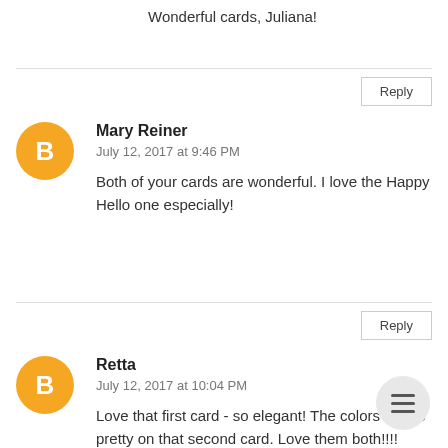Wonderful cards, Juliana!
Reply
Mary Reiner
July 12, 2017 at 9:46 PM
Both of your cards are wonderful. I love the Happy Hello one especially!
Reply
Retta
July 12, 2017 at 10:04 PM
Love that first card - so elegant! The colors are so pretty on that second card. Love them both!!!!